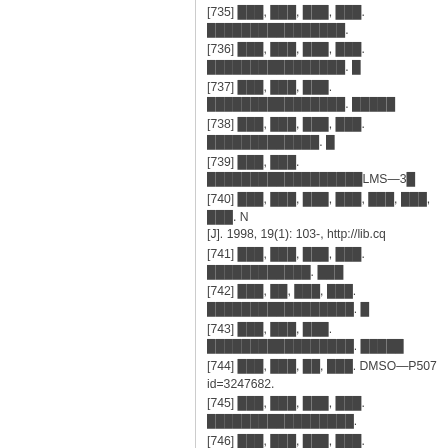[735] ███, ███, ███, ███. ████████████████.
[736] ███, ███, ███, ███. ████████████████. █
[737] ███, ███, ███. ████████████████. █████
[738] ███, ███, ███, ███. █████████████. █
[739] ███, ███. ██████████████████LMS—3█
[740] ███, ███, ███, ███, ███, ███, ███. N[J]. 1998, 19(1): 103-, http://lib.cq
[741] ███, ███, ███, ███. ████████████. ███
[742] ███, ██, ███, ███. █████████████████. █
[743] ███, ███, ███. █████████████████. █████
[744] ███, ███, ██, ███. DMSO—P507 id=3247682.
[745] ███, ███, ███, ███. █████████████████.
[746] ███, ███, ███, ███. ████████████████. █
[747] ███, ███, ███. █████████████████. █████
[748] ███, ███, ███, ███. █████████████. █
[749] ███, ███. ██████████████████LMS—3█
[750] ███, ███, ███, ███, ███, ███, ███. N[J]. 1998, 19(1): 103-, http://lib.cq
[751] ███, ███, ███, ███. █████████████████
[752] ███, ███, ██, ███. ████████████████.
[753] ███, ███, ███, ███. █████████████████